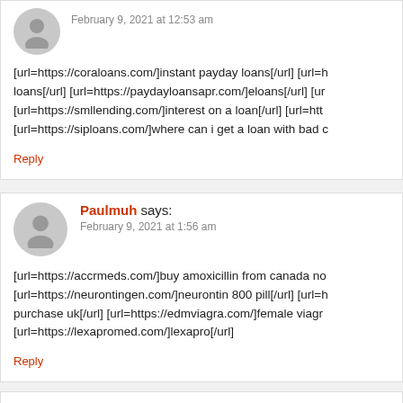February 9, 2021 at 12:53 am
[url=https://coraloans.com/]instant payday loans[/url] [url=h... loans[/url] [url=https://paydayloansapr.com/]eloans[/url] [ur... [url=https://smllending.com/]interest on a loan[/url] [url=htt... [url=https://siploans.com/]where can i get a loan with bad c...
Reply
Paulmuh says:
February 9, 2021 at 1:56 am
[url=https://accrmeds.com/]buy amoxicillin from canada no... [url=https://neurontingen.com/]neurontin 800 pill[/url] [url=h... purchase uk[/url] [url=https://edmviagra.com/]female viagr... [url=https://lexapromed.com/]lexapro[/url]
Reply